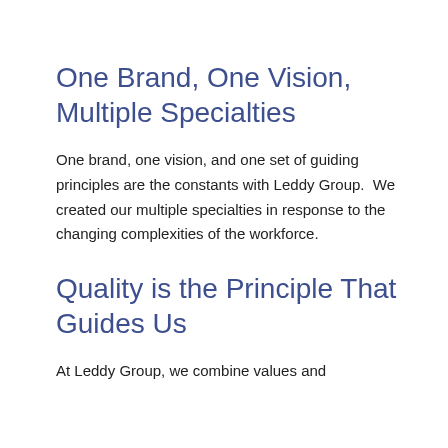One Brand, One Vision, Multiple Specialties
One brand, one vision, and one set of guiding principles are the constants with Leddy Group.  We created our multiple specialties in response to the changing complexities of the workforce.
Quality is the Principle That Guides Us
At Leddy Group, we combine values and